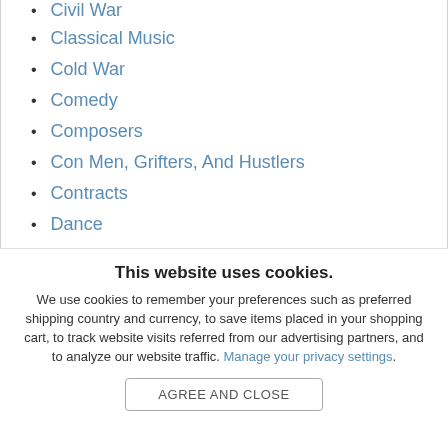Civil War
Classical Music
Cold War
Comedy
Composers
Con Men, Grifters, And Hustlers
Contracts
Dance
Design
Directors
This website uses cookies.
We use cookies to remember your preferences such as preferred shipping country and currency, to save items placed in your shopping cart, to track website visits referred from our advertising partners, and to analyze our website traffic. Manage your privacy settings.